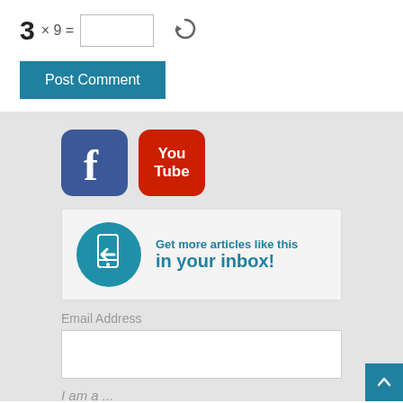[Figure (other): Post Comment button - blue rectangle with white text]
[Figure (other): Facebook icon - dark blue rounded square with white 'f' logo]
[Figure (other): YouTube icon - red rounded square with 'You Tube' text]
[Figure (other): Newsletter signup banner with teal phone/inbox icon and text 'Get more articles like this in your inbox!']
Email Address
I am a ...